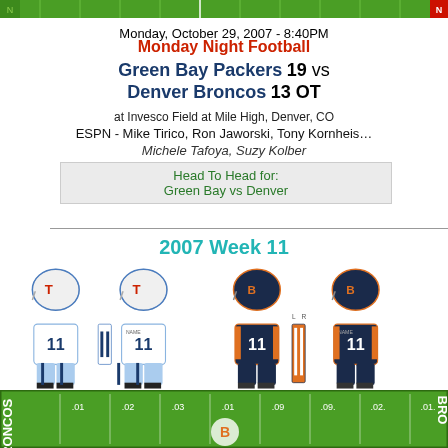[Figure (illustration): Top portion of a football field graphic (green with yard markers), partial view at very top of page]
Monday, October 29, 2007 - 8:40PM
Monday Night Football
Green Bay Packers  19  vs
Denver Broncos  13  OT
at Invesco Field at Mile High, Denver, CO
ESPN - Mike Tirico, Ron Jaworski, Tony Kornheiser
Michele Tafoya, Suzy Kolber
Head To Head for:
Green Bay vs Denver
2007 Week 11
[Figure (illustration): NFL uniform comparison showing Tennessee Titans (home and away uniforms with #11 in light blue and white) and Denver Broncos (home and away uniforms with #11 in navy and orange)]
[Figure (illustration): Bottom portion of a football field graphic for Broncos, green field with yard markers and BRONCOS text on sideline]